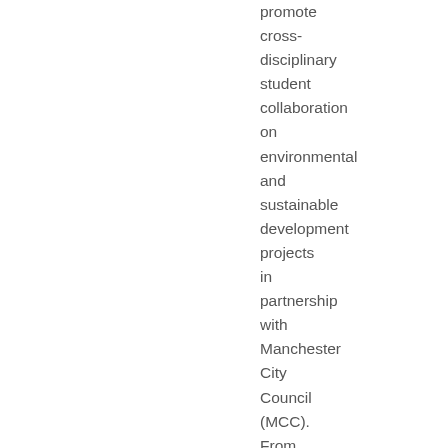promote cross-disciplinary student collaboration on environmental and sustainable development projects in partnership with Manchester City Council (MCC). From February 2008 until May 2009, students from five